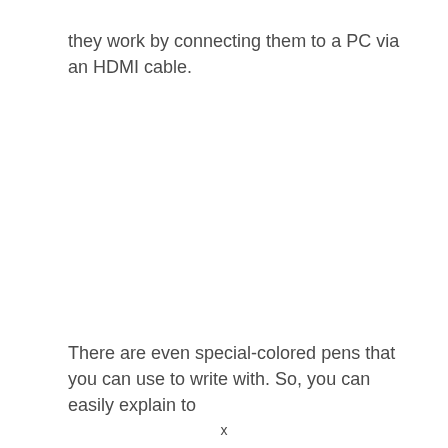they work by connecting them to a PC via an HDMI cable.
There are even special-colored pens that you can use to write with. So, you can easily explain to
x